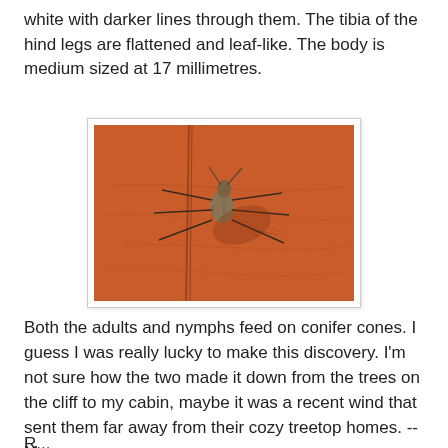white with darker lines through them. The tibia of the hind legs are flattened and leaf-like. The body is medium sized at 17 millimetres.
[Figure (photo): A brown insect (likely a conifer bug) clinging to an orange-red painted wooden surface. The bug has long legs and casts a shadow on the surface. Vertical darker lines/cracks are visible on the orange wood.]
Both the adults and nymphs feed on conifer cones. I guess I was really lucky to make this discovery. I'm not sure how the two made it down from the trees on the cliff to my cabin, maybe it was a recent wind that sent them far away from their cozy treetop homes. -- Margy
R...